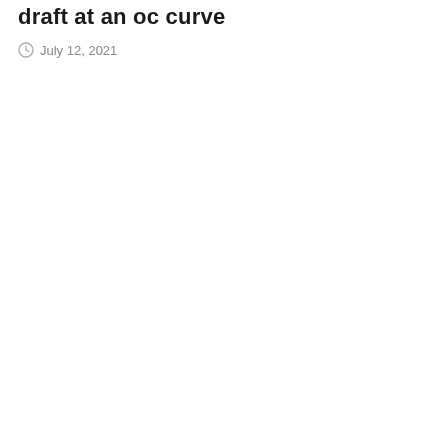draft at an oc curve
July 12, 2021